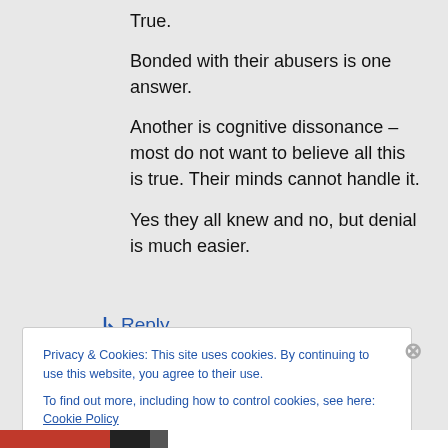True.
Bonded with their abusers is one answer.
Another is cognitive dissonance – most do not want to believe all this is true. Their minds cannot handle it.
Yes they all knew and no, but denial is much easier.
↳ Reply
Privacy & Cookies: This site uses cookies. By continuing to use this website, you agree to their use.
To find out more, including how to control cookies, see here: Cookie Policy